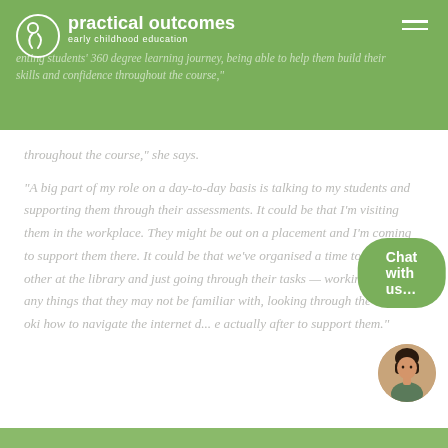practical outcomes — early childhood education
...enting students' 360 degree learning journey, being able to help them build their skills and confidence throughout the course," she says.
"A big part of my role on a day-to-day basis is talking to my students and supporting them through their assessments. It could be that I'm visiting them in the workplace. They might be out on a placement and I'm coming to support them there. It could be that we've organised a time to visit each other at the library and just going through their tasks — working through any things that they may not be familiar with, looking through the learner... oki how to navigate the internet d... e actually after to support them."
[Figure (other): Chat with us... button overlay with avatar photo of a woman]